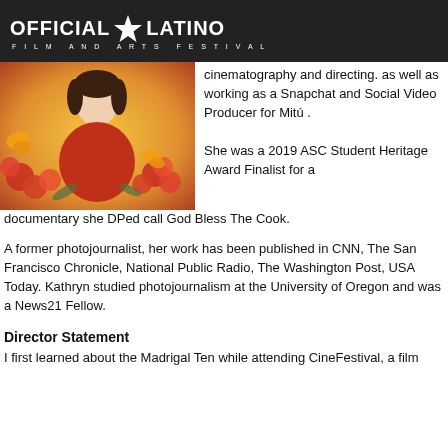OFFICIAL LATINO FILM AND ARTS FESTIVAL
[Figure (illustration): Illustrated portrait of a person in a red jacket surrounded by orange roses and monarch butterflies on a warm golden background.]
cinematography and directing. as well as working as a Snapchat and Social Video Producer for Mitú .
She was a 2019 ASC Student Heritage Award Finalist for a documentary she DPed call God Bless The Cook.
A former photojournalist, her work has been published in CNN, The San Francisco Chronicle, National Public Radio, The Washington Post, USA Today. Kathryn studied photojournalism at the University of Oregon and was a News21 Fellow.
Director Statement
I first learned about the Madrigal Ten while attending CineFestival, a film